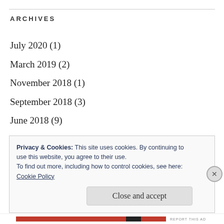ARCHIVES
July 2020 (1)
March 2019 (2)
November 2018 (1)
September 2018 (3)
June 2018 (9)
May 2018 (10)
April 2018 (1)
March 2018 (2)
February 2018 (1)
Privacy & Cookies: This site uses cookies. By continuing to use this website, you agree to their use.
To find out more, including how to control cookies, see here:
Cookie Policy
Close and accept